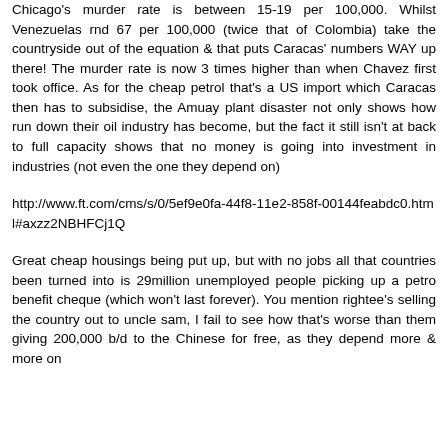Chicago's murder rate is between 15-19 per 100,000. Whilst Venezuelas rnd 67 per 100,000 (twice that of Colombia) take the countryside out of the equation & that puts Caracas' numbers WAY up there! The murder rate is now 3 times higher than when Chavez first took office. As for the cheap petrol that's a US import which Caracas then has to subsidise, the Amuay plant disaster not only shows how run down their oil industry has become, but the fact it still isn't at back to full capacity shows that no money is going into investment in industries (not even the one they depend on)
http://www.ft.com/cms/s/0/5ef9e0fa-44f8-11e2-858f-00144feabdc0.html#axzz2NBHFCj1Q
Great cheap housings being put up, but with no jobs all that countries been turned into is 29million unemployed people picking up a petro benefit cheque (which won't last forever). You mention rightee's selling the country out to uncle sam, I fail to see how that's worse than them giving 200,000 b/d to the Chinese for free, as they depend more & more on